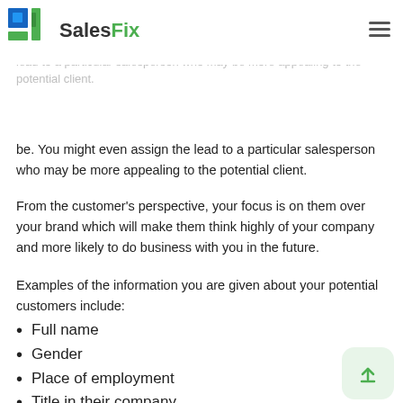SalesFix
Shaping each conversation will capture their attention and help you and your company make the sale. The more information you have about the lead, the stronger your presentation will be. You might even assign the lead to a particular salesperson who may be more appealing to the potential client.
From the customer's perspective, your focus is on them over your brand which will make them think highly of your company and more likely to do business with you in the future.
Examples of the information you are given about your potential customers include:
Full name
Gender
Place of employment
Title in their company